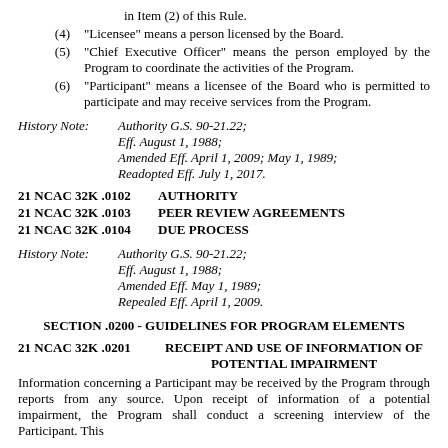in Item (2) of this Rule.
(4)   "Licensee" means a person licensed by the Board.
(5)   "Chief Executive Officer" means the person employed by the Program to coordinate the activities of the Program.
(6)   "Participant" means a licensee of the Board who is permitted to participate and may receive services from the Program.
History Note:   Authority G.S. 90-21.22; Eff. August 1, 1988; Amended Eff. April 1, 2009; May 1, 1989; Readopted Eff. July 1, 2017.
21 NCAC 32K .0102   AUTHORITY
21 NCAC 32K .0103   PEER REVIEW AGREEMENTS
21 NCAC 32K .0104   DUE PROCESS
History Note:   Authority G.S. 90-21.22; Eff. August 1, 1988; Amended Eff. May 1, 1989; Repealed Eff. April 1, 2009.
SECTION .0200 - GUIDELINES FOR PROGRAM ELEMENTS
21 NCAC 32K .0201   RECEIPT AND USE OF INFORMATION OF POTENTIAL IMPAIRMENT
Information concerning a Participant may be received by the Program through reports from any source. Upon receipt of information of a potential impairment, the Program shall conduct a screening interview of the Participant. This